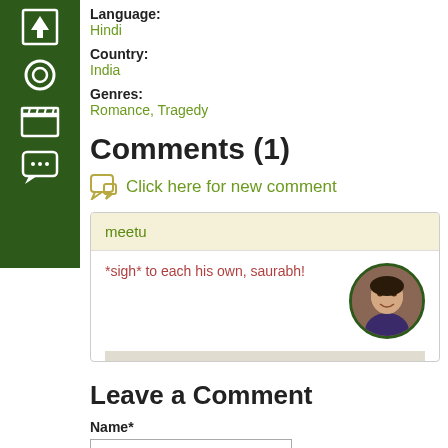[Figure (other): Dark green sidebar navigation with upload arrow, circle, clapperboard, and chat bubble icons]
Language:
Hindi
Country:
India
Genres:
Romance, Tragedy
Comments (1)
Click here for new comment
meetu
*sigh* to each his own, saurabh!
Leave a Comment
Name*